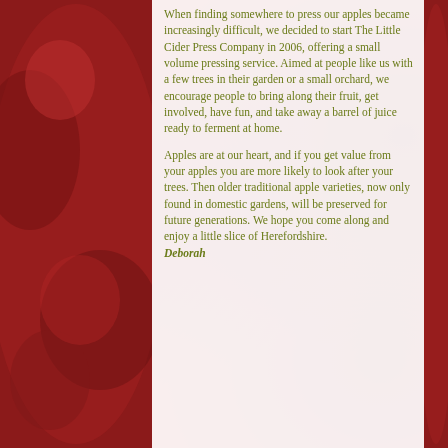When finding somewhere to press our apples became increasingly difficult, we decided to start The Little Cider Press Company in 2006, offering a small volume pressing service. Aimed at people like us with a few trees in their garden or a small orchard, we encourage people to bring along their fruit, get involved, have fun, and take away a barrel of juice ready to ferment at home.
Apples are at our heart, and if you get value from your apples you are more likely to look after your trees. Then older traditional apple varieties, now only found in domestic gardens, will be preserved for future generations. We hope you come along and enjoy a little slice of Herefordshire. Deborah